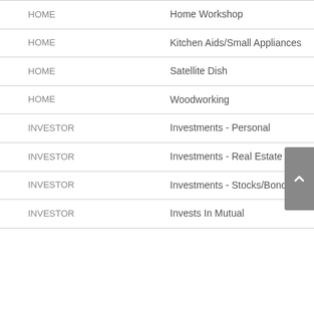| Category | Subcategory |
| --- | --- |
| HOME | Home Workshop |
| HOME | Kitchen Aids/Small Appliances |
| HOME | Satellite Dish |
| HOME | Woodworking |
| INVESTOR | Investments - Personal |
| INVESTOR | Investments - Real Estate |
| INVESTOR | Investments - Stocks/Bonds |
| INVESTOR | Invests In Mutual |